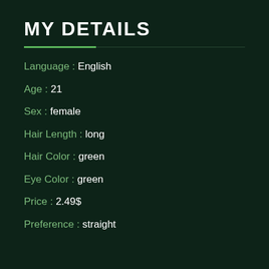MY DETAILS
Language : English
Age : 21
Sex : female
Hair Length : long
Hair Color : green
Eye Color : green
Price : 2.49$
Preference : straight